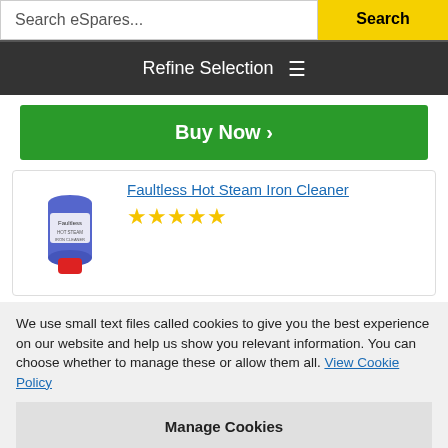Search eSpares...  Search
Refine Selection ≡
Buy Now >
[Figure (photo): Faultless Hot Steam Iron Cleaner tube product image]
Faultless Hot Steam Iron Cleaner
★★★★★
We use small text files called cookies to give you the best experience on our website and help us show you relevant information. You can choose whether to manage these or allow them all. View Cookie Policy
Manage Cookies
Allow All